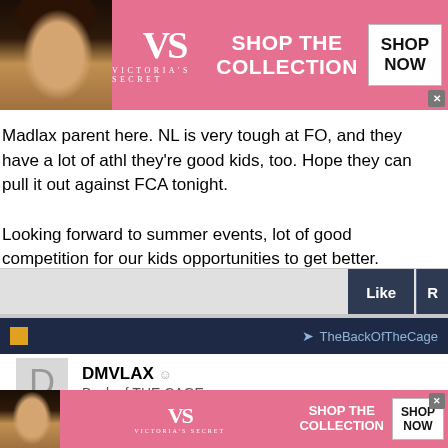[Figure (illustration): Victoria's Secret advertisement banner (pink background) with model face on left, VS logo in center, 'SHOP THE COLLECTION' text, and 'SHOP NOW' button on right. Close X button bottom right.]
Madlax parent here. NL is very tough at FO, and they have a lot of athl they're good kids, too. Hope they can pull it out against FCA tonight.

Looking forward to summer events, lot of good competition for our kids opportunities to get better.
[Figure (screenshot): Action bar with Like and R(eply) buttons on dark navy background]
[Figure (screenshot): Post header bar dark navy with yellow icon square on left and TheBackOfTheCage share link on right]
DMVLAX  Back of THE CAGE
NEXT LEVEL RED WON THE AA DIVISION!!!!!! THEY WERE THE 4 S
[Figure (illustration): Victoria's Secret advertisement banner (pink background) with model face on left, VS logo in center, 'SHOP THE COLLECTION' text, and 'SHOP NOW' button on right.]